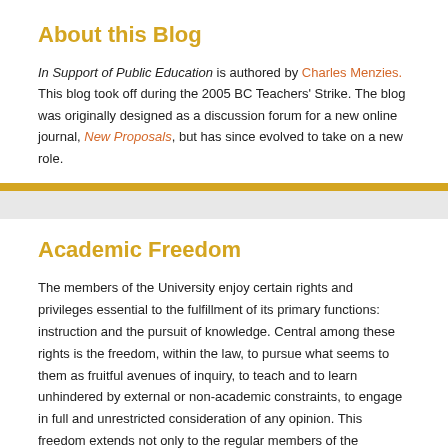About this Blog
In Support of Public Education is authored by Charles Menzies. This blog took off during the 2005 BC Teachers' Strike. The blog was originally designed as a discussion forum for a new online journal, New Proposals, but has since evolved to take on a new role.
Academic Freedom
The members of the University enjoy certain rights and privileges essential to the fulfillment of its primary functions: instruction and the pursuit of knowledge. Central among these rights is the freedom, within the law, to pursue what seems to them as fruitful avenues of inquiry, to teach and to learn unhindered by external or non-academic constraints, to engage in full and unrestricted consideration of any opinion. This freedom extends not only to the regular members of the